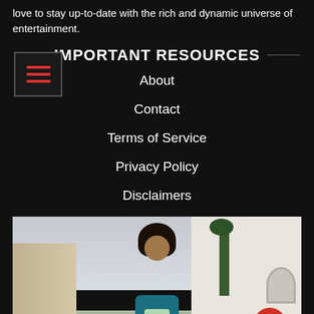love to stay up-to-date with the rich and dynamic universe of entertainment.
IMPORTANT RESOURCES
About
Contact
Terms of Service
Privacy Policy
Disclaimers
[Figure (photo): A laughing woman with curly hair wearing a teal jacket and light green shirt, standing outdoors near a white building with colorful houses in the background. A red scroll-to-top button is visible in the lower right.]